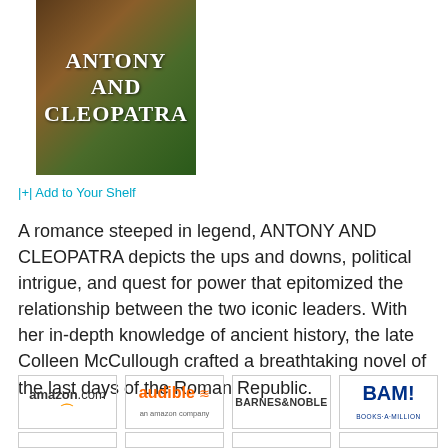[Figure (illustration): Book cover for Antony and Cleopatra with dark earthy and green tones, title in large serif white uppercase text]
|+| Add to Your Shelf
A romance steeped in legend, ANTONY AND CLEOPATRA depicts the ups and downs, political intrigue, and quest for power that epitomized the relationship between the two iconic leaders. With her in-depth knowledge of ancient history, the late Colleen McCullough crafted a breathtaking novel of the last days of the Roman Republic.
[Figure (logo): Amazon.com logo]
[Figure (logo): Audible an Amazon company logo]
[Figure (logo): Barnes & Noble logo]
[Figure (logo): BAM! Books-A-Million logo]